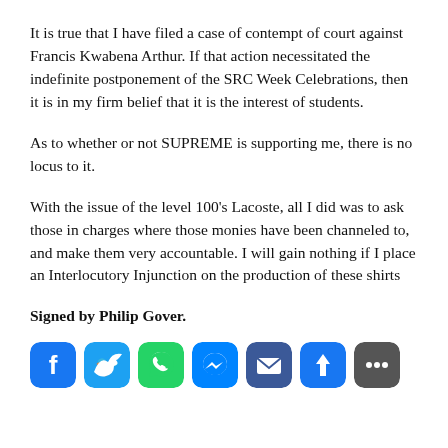It is true that I have filed a case of contempt of court against Francis Kwabena Arthur. If that action necessitated the indefinite postponement of the SRC Week Celebrations, then it is in my firm belief that it is the interest of students.
As to whether or not SUPREME is supporting me, there is no locus to it.
With the issue of the level 100's Lacoste, all I did was to ask those in charges where those monies have been channeled to, and make them very accountable. I will gain nothing if I place an Interlocutory Injunction on the production of these shirts
Signed by Philip Gover.
[Figure (infographic): Social media sharing icons: Facebook (blue), Twitter (blue), WhatsApp (green), Messenger (blue), Email (blue), Share (blue), More (dark grey)]